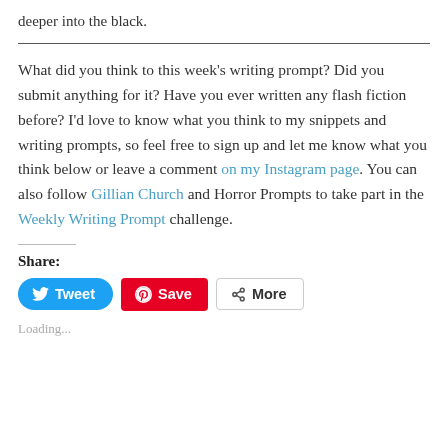deeper into the black.
What did you think to this week's writing prompt? Did you submit anything for it? Have you ever written any flash fiction before? I'd love to know what you think to my snippets and writing prompts, so feel free to sign up and let me know what you think below or leave a comment on my Instagram page. You can also follow Gillian Church and Horror Prompts to take part in the Weekly Writing Prompt challenge.
Share:
[Figure (other): Social share buttons: Tweet (Twitter/blue), Save (Pinterest/red), More (grey outline)]
Loading...